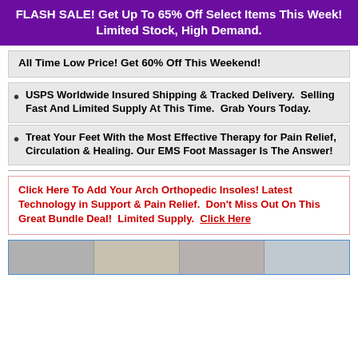FLASH SALE! Get Up To 65% Off Select Items This Week! Limited Stock, High Demand.
All Time Low Price! Get 60% Off This Weekend!
USPS Worldwide Insured Shipping & Tracked Delivery.  Selling Fast And Limited Supply At This Time.  Grab Yours Today.
Treat Your Feet With the Most Effective Therapy for Pain Relief, Circulation & Healing. Our EMS Foot Massager Is The Answer!
Click Here To Add Your Arch Orthopedic Insoles!  Latest Technology in Support & Pain Relief.  Don't Miss Out On This Great Bundle Deal!  Limited Supply.  Click Here
[Figure (photo): Strip of four product images related to orthopedic insoles and foot massager]